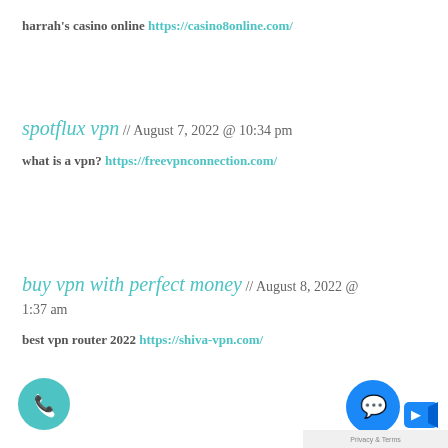harrah's casino online https://casino8online.com/
spotflux vpn // August 7, 2022 @ 10:34 pm
what is a vpn? https://freevpnconnection.com/
buy vpn with perfect money // August 8, 2022 @ 1:37 am
best vpn router 2022 https://shiva-vpn.com/
[Figure (other): Phone call floating action button (teal circle with phone icon)]
[Figure (other): Facebook Messenger floating button (blue circle with messenger icon) and video icon]
Privacy & Terms